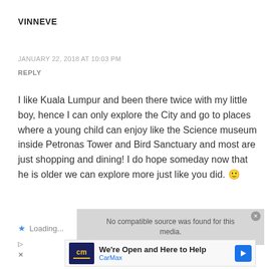VINNEVE
JANUARY 22, 2018 AT 10:03 PM
REPLY
I like Kuala Lumpur and been there twice with my little boy, hence I can only explore the City and go to places where a young child can enjoy like the Science museum inside Petronas Tower and Bird Sanctuary and most are just shopping and dining! I do hope someday now that he is older we can explore more just like you did. 🙂
Loading...
[Figure (screenshot): Ad overlay showing 'No compatible source was found for this media.' with a CarMax advertisement below reading 'We're Open and Here to Help' with CarMax logo and directional arrow icon.]